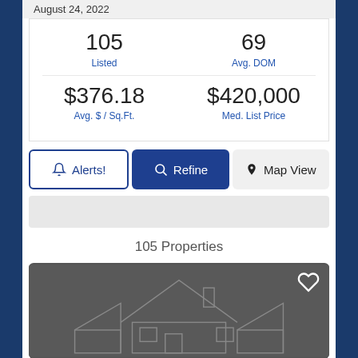August 24, 2022
| Metric | Value |
| --- | --- |
| Listed | 105 |
| Avg. DOM | 69 |
| Avg. $ / Sq.Ft. | $376.18 |
| Med. List Price | $420,000 |
Alerts! | Refine | Map View
105 Properties
[Figure (photo): Gray placeholder listing photo showing a house outline illustration]